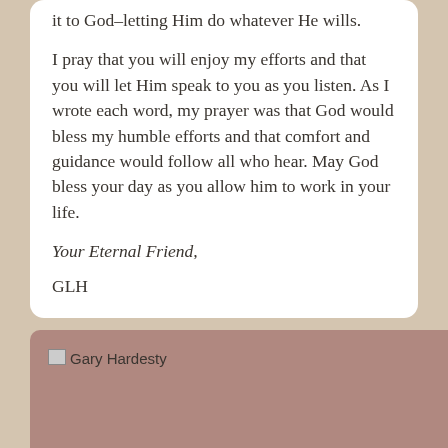it to God–letting Him do whatever He wills.
I pray that you will enjoy my efforts and that you will let Him speak to you as you listen. As I wrote each word, my prayer was that God would bless my humble efforts and that comfort and guidance would follow all who hear. May God bless your day as you allow him to work in your life.
Your Eternal Friend,
GLH
[Figure (photo): A broken image placeholder with the label 'Gary Hardesty' on a dusty rose/mauve colored card at the bottom of the page.]